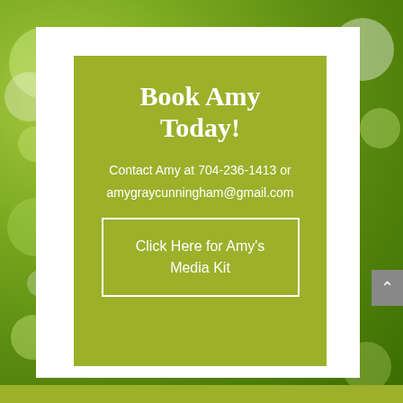Book Amy Today!
Contact Amy at 704-236-1413 or
amygraycunningham@gmail.com
Click Here for Amy's Media Kit